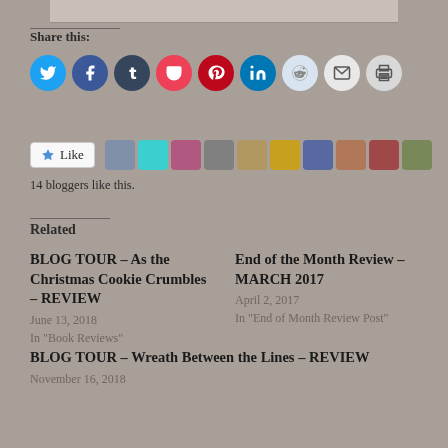[Figure (screenshot): Partial blog post page screenshot showing share buttons, like bar with avatars, and related posts section]
Share this:
14 bloggers like this.
Related
BLOG TOUR – As the Christmas Cookie Crumbles – REVIEW
June 13, 2018
In "Book Reviews"
End of the Month Review – MARCH 2017
April 2, 2017
In "End of Month Review Post"
BLOG TOUR – Wreath Between the Lines – REVIEW
November 16, 2018